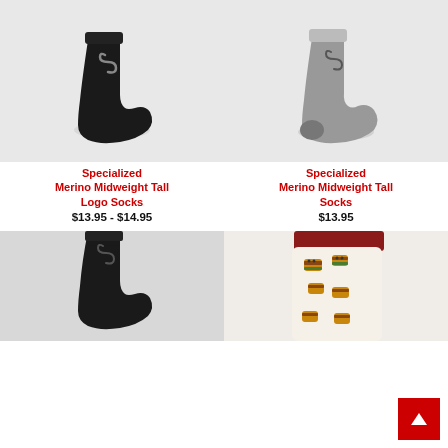[Figure (photo): Black Specialized Merino Midweight Tall Logo Sock on white/light gray background]
[Figure (photo): Gray Specialized Merino Midweight Tall Sock on white/light gray background]
Specialized
Merino Midweight Tall Logo Socks
$13.95 - $14.95
Specialized
Merino Midweight Tall Socks
$13.95
[Figure (photo): Black Specialized sock on light gray background, bottom portion visible]
[Figure (photo): White sock with burger/cheeseburger emoji pattern and dark red cuff, partially visible]